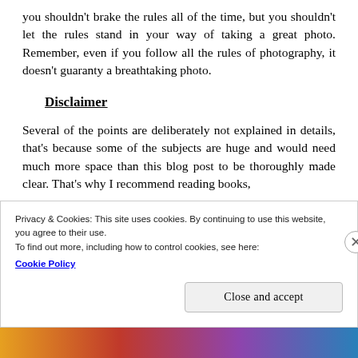you shouldn't brake the rules all of the time, but you shouldn't let the rules stand in your way of taking a great photo. Remember, even if you follow all the rules of photography, it doesn't guaranty a breathtaking photo.
Disclaimer
Several of the points are deliberately not explained in details, that's because some of the subjects are huge and would need much more space than this blog post to be thoroughly made clear. That's why I recommend reading books,
Privacy & Cookies: This site uses cookies. By continuing to use this website, you agree to their use.
To find out more, including how to control cookies, see here:
Cookie Policy
Close and accept